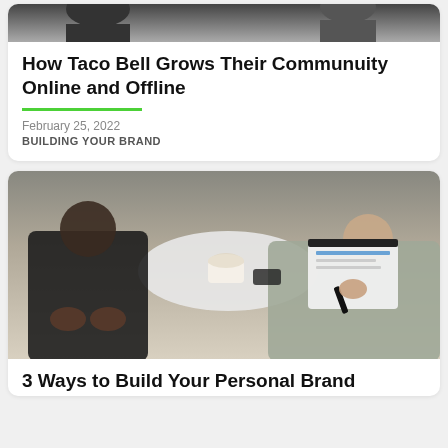[Figure (photo): Partial photo of people, cropped at top of page]
How Taco Bell Grows Their Communuity Online and Offline
February 25, 2022
BUILDING YOUR BRAND
[Figure (photo): Two people sitting at a table, one writing on a clipboard, business/coaching meeting scene]
3 Ways to Build Your Personal Brand